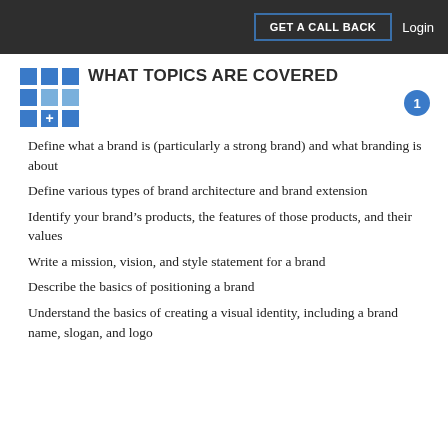GET A CALL BACK | Login
WHAT TOPICS ARE COVERED
Define what a brand is (particularly a strong brand) and what branding is about
Define various types of brand architecture and brand extension
Identify your brand's products, the features of those products, and their values
Write a mission, vision, and style statement for a brand
Describe the basics of positioning a brand
Understand the basics of creating a visual identity, including a brand name, slogan, and logo